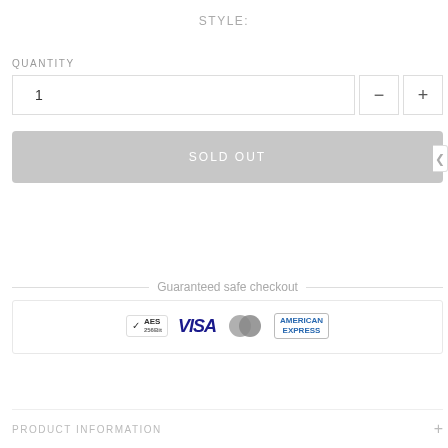STYLE:
QUANTITY
1
SOLD OUT
Guaranteed safe checkout
[Figure (infographic): Payment icons: AES 256Bit badge, VISA, MasterCard, American Express]
PRODUCT INFORMATION